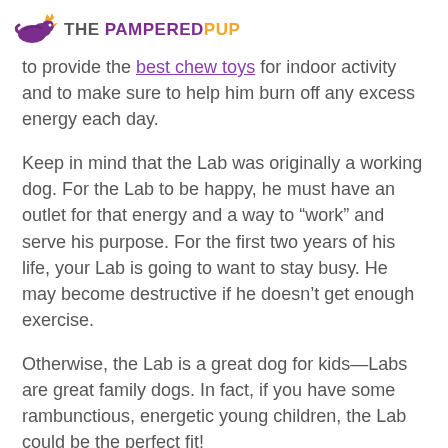THE PAMPERED PUP
to provide the best chew toys for indoor activity and to make sure to help him burn off any excess energy each day.
Keep in mind that the Lab was originally a working dog. For the Lab to be happy, he must have an outlet for that energy and a way to “work” and serve his purpose. For the first two years of his life, your Lab is going to want to stay busy. He may become destructive if he doesn’t get enough exercise.
Otherwise, the Lab is a great dog for kids—Labs are great family dogs. In fact, if you have some rambunctious, energetic young children, the Lab could be the perfect fit!